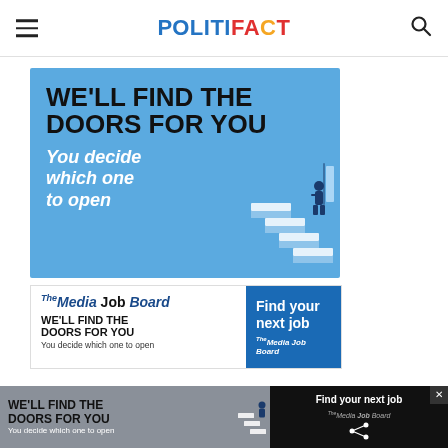POLITIFACT
[Figure (illustration): Advertisement banner with blue background. Large bold black text reads 'WE'LL FIND THE DOORS FOR YOU'. White italic text below reads 'You decide which one to open'. Illustration of a person standing on staircase steps on the right side.]
[Figure (illustration): Media Job Board advertisement. Left side shows the Media Job Board logo with text 'WE'LL FIND THE DOORS FOR YOU' and 'You decide which one to open'. Right blue panel reads 'Find your next job' with Media Job Board logo.]
[Figure (illustration): Bottom overlay banner ad. Gray strip showing 'WE'LL FIND THE DOORS FOR YOU / You decide which one to open' and a dark panel on right with 'Find your next job' and Media Job Board logo with share icon.]